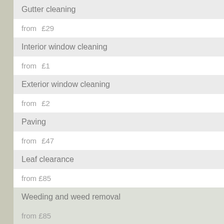Gutter cleaning
from  £29
Interior window cleaning
from  £1
Exterior window cleaning
from  £2
Paving
from  £47
Leaf clearance
from £85
Weeding and weed removal
from £85
Garden maintenance